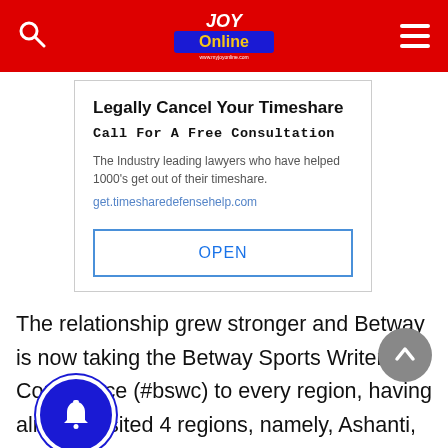Joy Online
[Figure (infographic): Advertisement box: 'Legally Cancel Your Timeshare / Call For A Free Consultation / The Industry leading lawyers who have helped 1000's get out of their timeshare. / get.timesharedefensehelp.com / OPEN button']
The relationship grew stronger and Betway is now taking the Betway Sports Writers' Conference (#bswc) to every region, having already visited 4 regions, namely, Ashanti, Greater Accra,